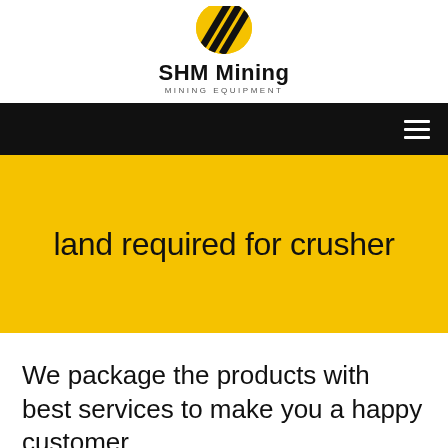[Figure (logo): SHM Mining logo: yellow and black diagonal stripe icon above the text 'SHM Mining' and 'MINING EQUIPMENT']
SHM Mining
MINING EQUIPMENT
Navigation bar with hamburger menu icon
land required for crusher
We package the products with best services to make you a happy customer.